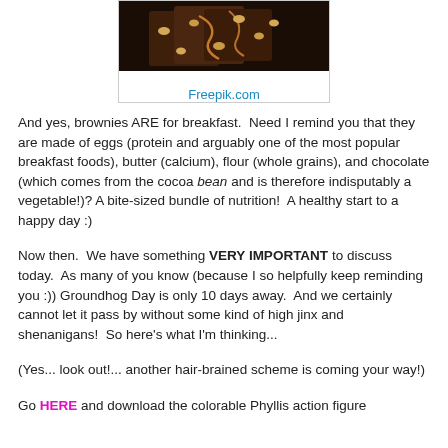[Figure (photo): Photo of chocolate brownies with nuts on a white background, sourced from Freepik.com]
Freepik.com
And yes, brownies ARE for breakfast.  Need I remind you that they are made of eggs (protein and arguably one of the most popular breakfast foods), butter (calcium), flour (whole grains), and chocolate (which comes from the cocoa bean and is therefore indisputably a vegetable!)? A bite-sized bundle of nutrition!  A healthy start to a happy day :)
Now then.  We have something VERY IMPORTANT to discuss today.  As many of you know (because I so helpfully keep reminding you :)) Groundhog Day is only 10 days away.  And we certainly cannot let it pass by without some kind of high jinx and shenanigans!  So here's what I'm thinking...
(Yes... look out!... another hair-brained scheme is coming your way!)
Go HERE and download the colorable Phyllis action figure